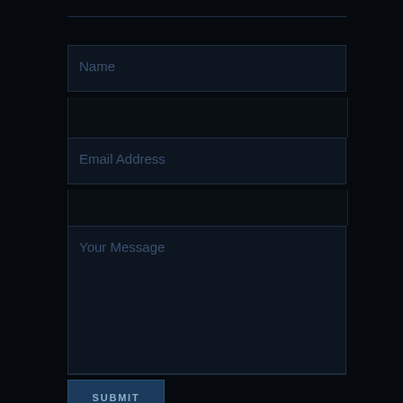Name
Email Address
Your Message
SUBMIT